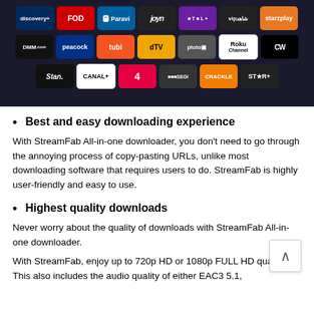[Figure (screenshot): Screenshot of a streaming service app showing logo tiles for various streaming platforms including Discovery+, FOD, Paravi, Joyn, MTel+, VIPشاهد, Starzplay, DMM.com, Peacock, Tubi, dTV, Pluto, Roku Channel, The CW, Stan, CANAL+, Channel 4, segiSEGI, Crackle, STAR+ on a dark background.]
Best and easy downloading experience
With StreamFab All-in-one downloader, you don't need to go through the annoying process of copy-pasting URLs, unlike most downloading software that requires users to do. StreamFab is highly user-friendly and easy to use.
Highest quality downloads
Never worry about the quality of downloads with StreamFab All-in-one downloader.
With StreamFab, enjoy up to 720p HD or 1080p FULL HD quality! This also includes the audio quality of either EAC3 5.1,